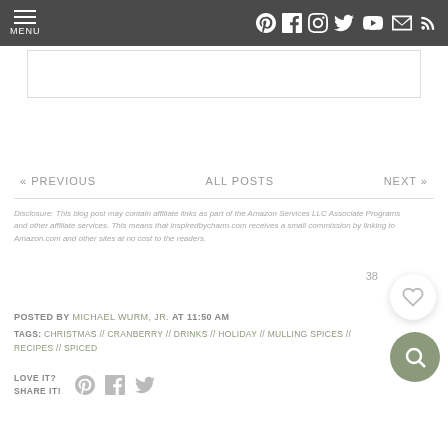MENU | social icons: Pinterest, Facebook, Instagram, Twitter, YouTube, Email, RSS
[Figure (other): Empty white placeholder box with border]
« PREVIOUS   ALL POSTS   NEXT »
Disclosure: This blog post may contain affiliate links as part of the Amazon Services LLC Associate Programs and other affiliate services. This means that inspiredbycharm.com receives a small commission by linking to Amazon.com and other sites at no cost to the readers.
38
POSTED BY MICHAEL WURM, JR. AT 11:50 AM
TAGS: CHRISTMAS // CRANBERRY // DRINKS // HOLIDAY // MULLING SPICES // RECIPES // SPICED
LOVE IT? SHARE IT!